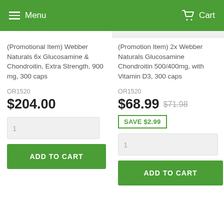Menu  Cart
(Promotional Item) Webber Naturals 6x Glucosamine & Chondroitin, Extra Strength, 900 mg, 300 caps
OR1520
$204.00
1
ADD TO CART
(Promotion Item) 2x Webber Naturals Glucosamine Chondroitin 500/400mg, with Vitamin D3, 300 caps
OR1520
$68.99  $71.98
SAVE $2.99
1
ADD TO CART